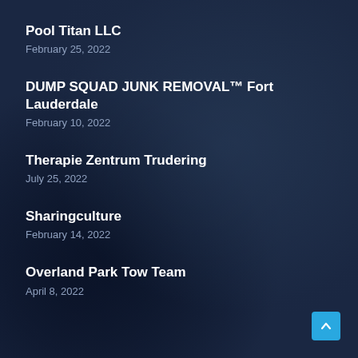Pool Titan LLC
February 25, 2022
DUMP SQUAD JUNK REMOVAL™ Fort Lauderdale
February 10, 2022
Therapie Zentrum Trudering
July 25, 2022
Sharingculture
February 14, 2022
Overland Park Tow Team
April 8, 2022